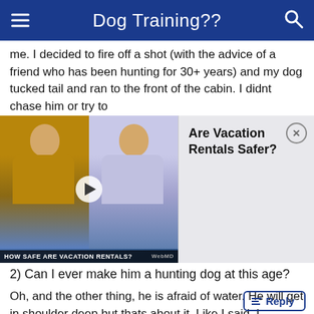Dog Training??
me. I decided to fire off a shot (with the advice of a friend who has been hunting for 30+ years) and my dog tucked tail and ran to the front of the cabin. I didnt chase him or try to
[Figure (screenshot): Video thumbnail showing two men in a conversation, with caption 'HOW SAFE ARE VACATION RENTALS?' and WebMD watermark. Alongside is an ad panel reading 'Are Vacation Rentals Safer?' with a close (X) button.]
2) Can I ever make him a hunting dog at this age?
Oh, and the other thing, he is afraid of water. He will get in shoulder deep but thats about it. Like I said, I adopted him after he was left on the front door step of a shelter so I am thinking he was traumatized when he was with his first owner.
Thanks everyone.